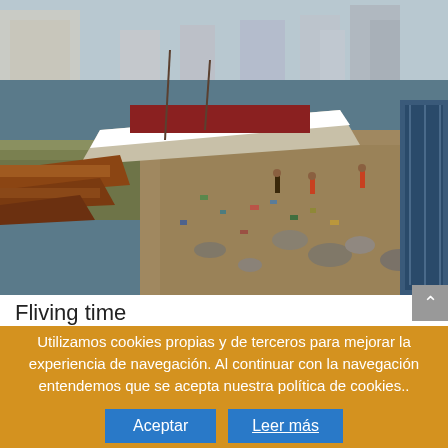[Figure (photo): Aerial/ground view of a busy fishing port or harbour in an African city, showing large wooden boats on muddy water, a large white-hulled vessel beached on shore, debris and litter along the shoreline, and multi-storey buildings visible in the background under an overcast sky.]
Fliving time
Utilizamos cookies propias y de terceros para mejorar la experiencia de navegación. Al continuar con la navegación entendemos que se acepta nuestra política de cookies..